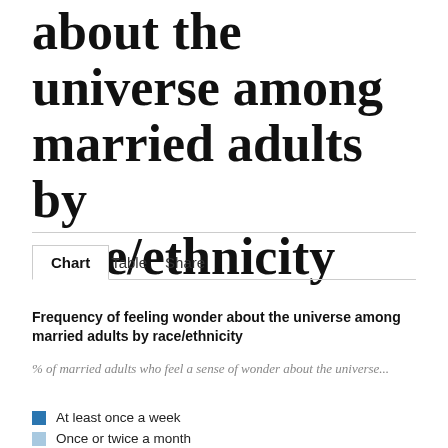about the universe among married adults by race/ethnicity
Chart | Table | Share
Frequency of feeling wonder about the universe among married adults by race/ethnicity
% of married adults who feel a sense of wonder about the universe...
At least once a week
Once or twice a month